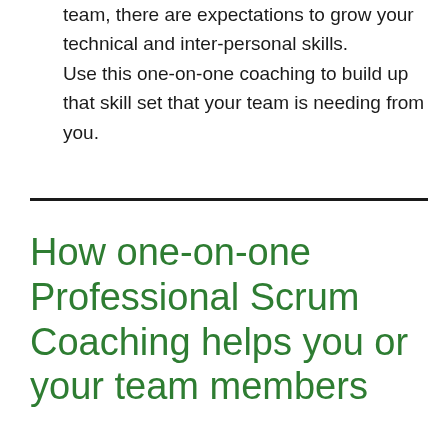team, there are expectations to grow your technical and inter-personal skills. Use this one-on-one coaching to build up that skill set that your team is needing from you.
How one-on-one Professional Scrum Coaching helps you or your team members